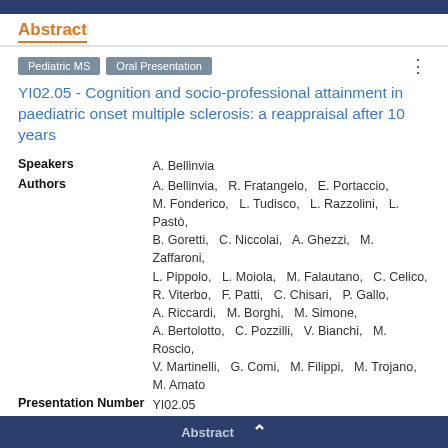Abstract
Pediatric MS   Oral Presentation
YI02.05 - Cognition and socio-professional attainment in paediatric onset multiple sclerosis: a reappraisal after 10 years
Speakers   A. Bellinvia
Authors   A. Bellinvia,   R. Fratangelo,   E. Portaccio,   M. Fonderico,   L. Tudisco,   L. Razzolini,   L. Pastò,   B. Goretti,   C. Niccolai,   A. Ghezzi,   M. Zaffaroni,   L. Pippolo,   L. Moiola,   M. Falautano,   C. Celico,   R. Viterbo,   F. Patti,   C. Chisari,   P. Gallo,   A. Riccardi,   M. Borghi,   M. Simone,   A. Bertolotto,   C. Pozzilli,   V. Bianchi,   M. Roscio,   V. Martinelli,   G. Comi,   M. Filippi,   M. Trojano,   M. Amato
Presentation Number   YI02.05
Presentation Topic   Pediatric MS
Lecture Time   12:03 - 12:15
Abstract